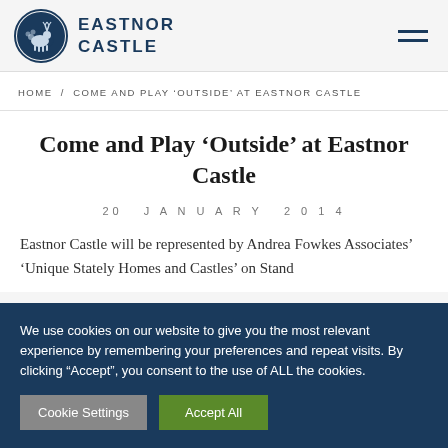[Figure (logo): Eastnor Castle circular logo with deer/stag illustration and text 'EASTNOR CASTLE']
HOME / COME AND PLAY 'OUTSIDE' AT EASTNOR CASTLE
Come and Play ‘Outside’ at Eastnor Castle
20 JANUARY 2014
Eastnor Castle will be represented by Andrea Fowkes Associates’ ‘Unique Stately Homes and Castles’ on Stand
We use cookies on our website to give you the most relevant experience by remembering your preferences and repeat visits. By clicking “Accept”, you consent to the use of ALL the cookies.